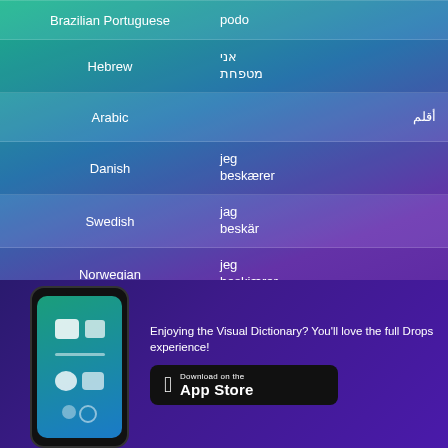Brazilian Portuguese — podo
Hebrew — אני מטפחת
Arabic — أقلم
Danish — jeg beskærer
Swedish — jag beskär
Norwegian — jeg beskjærer
Hindi — मैं छँटाई करता हूँ
Tagalog — nagpuputol ako ng mga dahon at sanga
Enjoying the Visual Dictionary? You'll love the full Drops experience!
[Figure (screenshot): Mobile phone showing the Drops app interface with vocabulary learning screen]
Download on the App Store